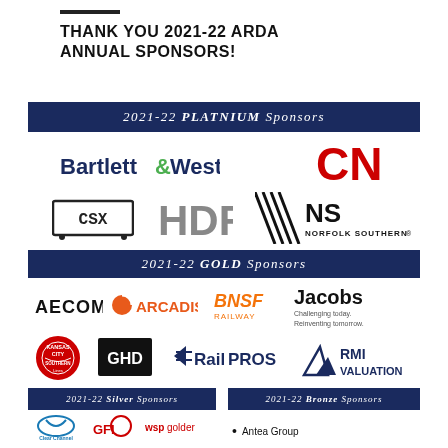THANK YOU 2021-22 ARDA ANNUAL SPONSORS!
2021-22 PLATNIUM Sponsors
[Figure (logo): Bartlett & West logo]
[Figure (logo): CN (Canadian National) logo in red]
[Figure (logo): CSX logo in bracket style]
[Figure (logo): HDR logo in gray]
[Figure (logo): Norfolk Southern logo with diagonal stripes]
2021-22 GOLD Sponsors
[Figure (logo): AECOM logo]
[Figure (logo): Arcadis logo]
[Figure (logo): BNSF Railway logo]
[Figure (logo): Jacobs logo with tagline Challenging today. Reinventing tomorrow.]
[Figure (logo): Kansas City Southern Lines logo in red circle]
[Figure (logo): GHD logo on black background]
[Figure (logo): RailPros logo]
[Figure (logo): RMI Valuation logo]
2021-22 Silver Sponsors
2021-22 Bronze Sponsors
[Figure (logo): Clear Channel logo]
[Figure (logo): GFI logo]
[Figure (logo): WSP Golder logo]
Antea Group